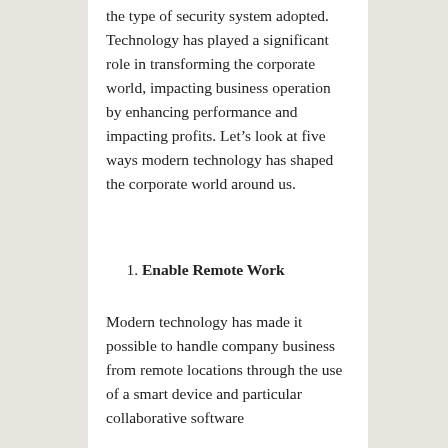the type of security system adopted. Technology has played a significant role in transforming the corporate world, impacting business operation by enhancing performance and impacting profits. Let's look at five ways modern technology has shaped the corporate world around us.
1. Enable Remote Work
Modern technology has made it possible to handle company business from remote locations through the use of a smart device and particular collaborative software